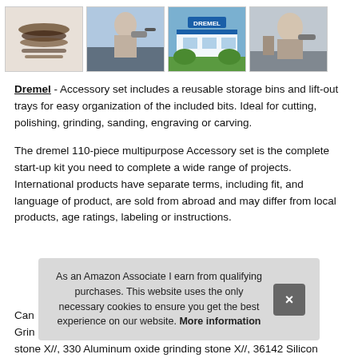[Figure (photo): Four product thumbnail images in a row: (1) Dremel accessory bits/wheels, (2) person using Dremel tool, (3) Dremel storefront/building, (4) person working with Dremel rotary tool]
Dremel - Accessory set includes a reusable storage bins and lift-out trays for easy organization of the included bits. Ideal for cutting, polishing, grinding, sanding, engraving or carving.
The dremel 110-piece multipurpose Accessory set is the complete start-up kit you need to complete a wide range of projects. International products have separate terms, including fit, and language of product, are sold from abroad and may differ from local products, age ratings, labeling or instructions.
As an Amazon Associate I earn from qualifying purchases. This website uses the only necessary cookies to ensure you get the best experience on our website. More information
Can... Grin... stone X//, 330 Aluminum oxide grinding stone X//, 36142 Silicon